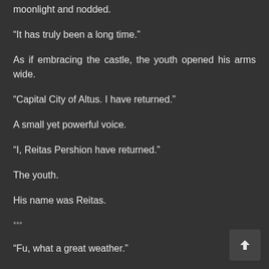moonlight and nodded.
“It has truly been a long time.”
As if embracing the castle, the youth opened his arms wide.
“Capital City of Altus. I have returned.”
A small yet powerful voice.
“I, Reitas Pershion have returned.”
The youth.
His name was Reitas.
***
“Fu, what a great weather.”